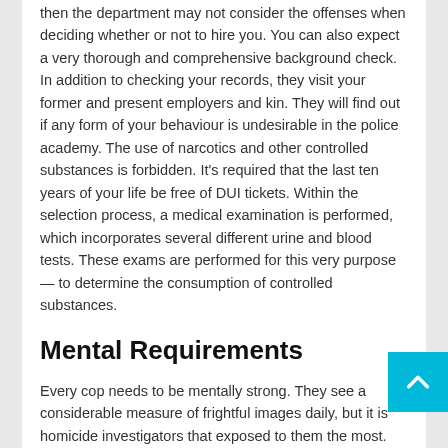then the department may not consider the offenses when deciding whether or not to hire you. You can also expect a very thorough and comprehensive background check. In addition to checking your records, they visit your former and present employers and kin. They will find out if any form of your behaviour is undesirable in the police academy. The use of narcotics and other controlled substances is forbidden. It's required that the last ten years of your life be free of DUI tickets. Within the selection process, a medical examination is performed, which incorporates several different urine and blood tests. These exams are performed for this very purpose — to determine the consumption of controlled substances.
Mental Requirements
Every cop needs to be mentally strong. They see a considerable measure of frightful images daily, but it is homicide investigators that exposed to them the most. need to have adequate mental resilience to remain sturdy and to continue working in the profession. They require the